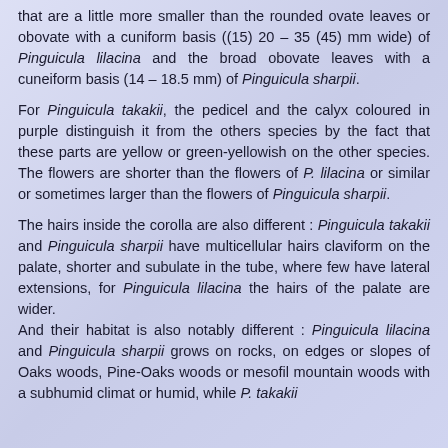that are a little more smaller than the rounded ovate leaves or obovate with a cuniform basis ((15) 20 – 35 (45) mm wide) of Pinguicula lilacina and the broad obovate leaves with a cuneiform basis (14 – 18.5 mm) of Pinguicula sharpii.
For Pinguicula takakii, the pedicel and the calyx coloured in purple distinguish it from the others species by the fact that these parts are yellow or green-yellowish on the other species. The flowers are shorter than the flowers of P. lilacina or similar or sometimes larger than the flowers of Pinguicula sharpii.
The hairs inside the corolla are also different : Pinguicula takakii and Pinguicula sharpii have multicellular hairs claviform on the palate, shorter and subulate in the tube, where few have lateral extensions, for Pinguicula lilacina the hairs of the palate are wider. And their habitat is also notably different : Pinguicula lilacina and Pinguicula sharpii grows on rocks, on edges or slopes of Oaks woods, Pine-Oaks woods or mesofil mountain woods with a subhumid climat or humid, while P. takakii